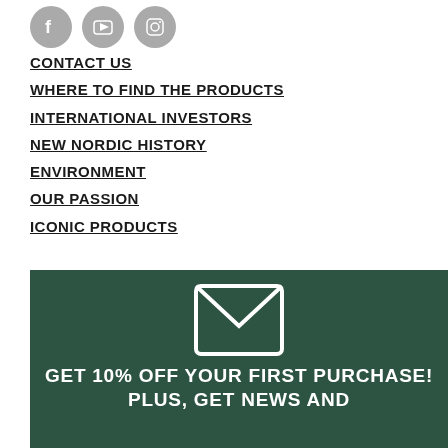[Figure (illustration): Three circular social media icons: Facebook, YouTube, and Instagram, in gray]
CONTACT US
WHERE TO FIND THE PRODUCTS
INTERNATIONAL INVESTORS
NEW NORDIC HISTORY
ENVIRONMENT
OUR PASSION
ICONIC PRODUCTS
[Figure (illustration): Dark green banner with an envelope/mail icon and promotional text]
GET 10% OFF YOUR FIRST PURCHASE! PLUS, GET NEWS AND